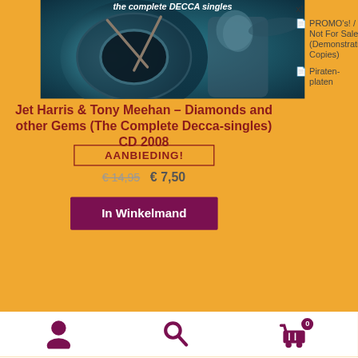[Figure (photo): Album cover photo showing drums and a musician silhouette with text 'the complete DECCA singles' at the top]
Jet Harris & Tony Meehan – Diamonds and other Gems (The Complete Decca-singles) CD 2008
AANBIEDING!
€ 14,95  € 7,50
In Winkelmand
x!
PROMO's! / Not For Sale (Demonstration Copies)
Piraten-platen